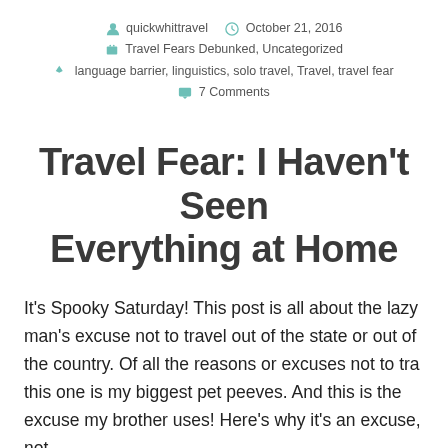quickwhittravel   October 21, 2016
Travel Fears Debunked, Uncategorized
language barrier, linguistics, solo travel, Travel, travel fear
7 Comments
Travel Fear: I Haven't Seen Everything at Home
It's Spooky Saturday! This post is all about the lazy man's excuse not to travel out of the state or out of the country. Of all the reasons or excuses not to tra… this one is my biggest pet peeves. And this is the excuse my brother uses! Here's why it's an excuse, not